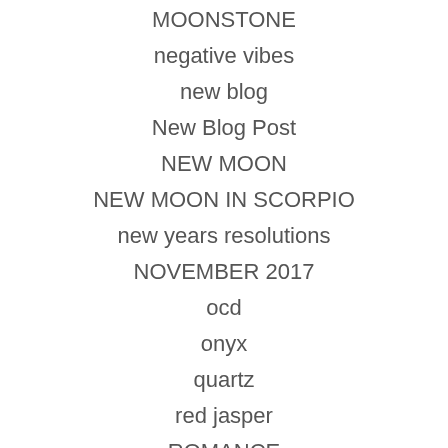MOONSTONE
negative vibes
new blog
New Blog Post
NEW MOON
NEW MOON IN SCORPIO
new years resolutions
NOVEMBER 2017
ocd
onyx
quartz
red jasper
ROMANCE
rose quartz
SCORPIO
selenite